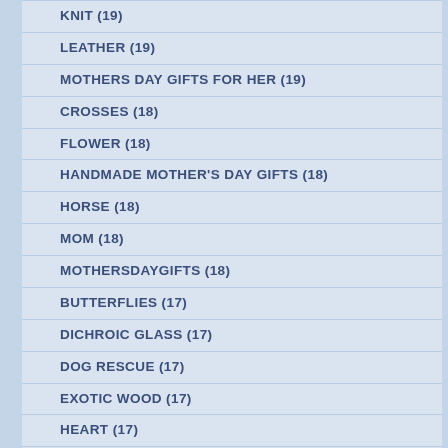KNIT (19)
LEATHER (19)
MOTHERS DAY GIFTS FOR HER (19)
CROSSES (18)
FLOWER (18)
HANDMADE MOTHER'S DAY GIFTS (18)
HORSE (18)
MOM (18)
MOTHERSDAYGIFTS (18)
BUTTERFLIES (17)
DICHROIC GLASS (17)
DOG RESCUE (17)
EXOTIC WOOD (17)
HEART (17)
LAVENDER (17)
LOVE (17)
ORNAMENTS (17)
POPPIES (17)